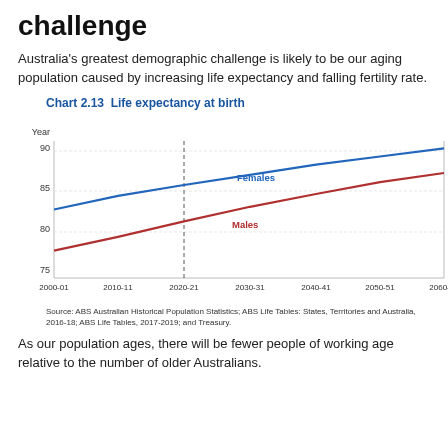challenge
Australia's greatest demographic challenge is likely to be our aging population caused by increasing life expectancy and falling fertility rate.
Chart 2.13  Life expectancy at birth
[Figure (line-chart): Life expectancy at birth]
Source: ABS Australian Historical Population Statistics; ABS Life Tables: States, Territories and Australia, 2016-18; ABS Life Tables, 2017-2019; and Treasury.
As our population ages, there will be fewer people of working age relative to the number of older Australians.